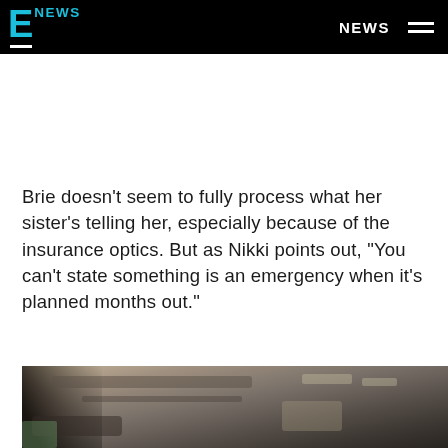E NEWS | NEWS
Brie doesn't seem to fully process what her sister's telling her, especially because of the insurance optics. But as Nikki points out, "You can't state something is an emergency when it's planned months out."
[Figure (photo): Partial view of a car interior ceiling/roof, dark tones, taken from inside vehicle looking upward]